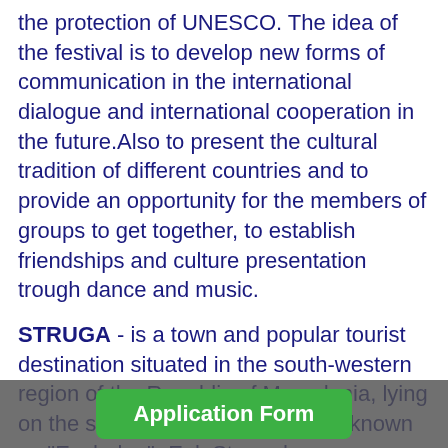the protection of UNESCO. The idea of the festival is to develop new forms of communication in the international dialogue and international cooperation in the future.Also to present the cultural tradition of different countries and to provide an opportunity for the members of groups to get together, to establish friendships and culture presentation trough dance and music.
STRUGA -  is a town and popular tourist destination situated in the south-western region of the Republic of Macedonia, lying on the shore of Lake Ohrid. Once known as "Enchalon" -Eel, Struga has a population of approximetly 15 000 inhabitants. It has been known si... llirs, and many old write... des have
Application Form